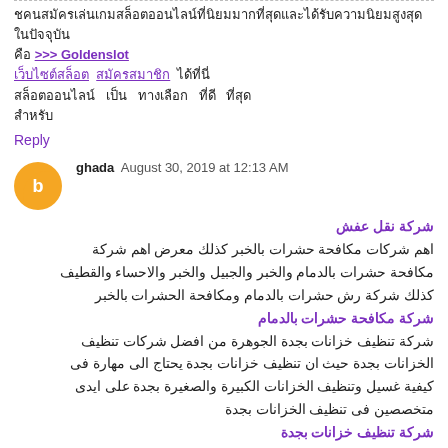[Thai text block with link to Goldenslot and other Thai links]
Reply
ghada  August 30, 2019 at 12:13 AM
شركة نقل عفش
اهم شركات مكافحة حشرات بالخبر كذلك معرض اهم شركة مكافحة حشرات بالدمام والخبر والجبيل والخبر والاحساء والقطيف كذلك شركة رش حشرات بالدمام ومكافحة الحشرات بالخبر
شركة مكافحة حشرات بالدمام
شركة تنظيف خزانات بجدة الجوهرة من افضل شركات تنظيف الخزانات بجدة حيث ان تنظيف خزانات بجدة يحتاج الى مهارة فى كيفية غسيل وتنظيف الخزانات الكبيرة والصغيرة بجدة على ايدى متخصصين فى تنظيف الخزانات بجدة
شركة تنظيف خزانات بجدة